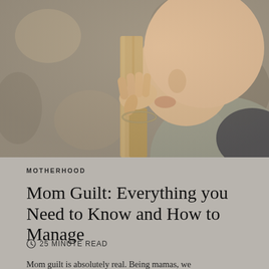[Figure (photo): Close-up photograph of a woman resting her chin/mouth on her hands gripping a wooden railing or post, looking pensive, with blurred outdoor background.]
MOTHERHOOD
Mom Guilt: Everything you Need to Know and How to Manage
🕐 25 MINUTE READ
Mom guilt is absolutely real. Being mamas, we